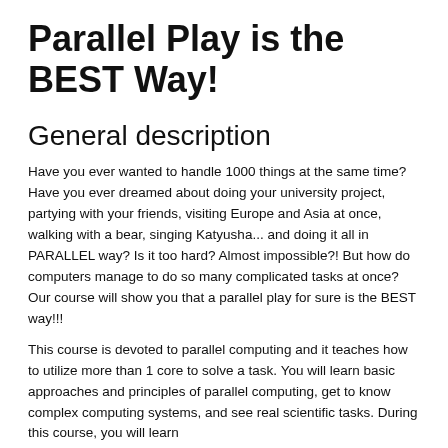Parallel Play is the BEST Way!
General description
Have you ever wanted to handle 1000 things at the same time? Have you ever dreamed about doing your university project, partying with your friends, visiting Europe and Asia at once, walking with a bear, singing Katyusha... and doing it all in PARALLEL way? Is it too hard? Almost impossible?! But how do computers manage to do so many complicated tasks at once? Our course will show you that a parallel play for sure is the BEST way!!!
This course is devoted to parallel computing and it teaches how to utilize more than 1 core to solve a task. You will learn basic approaches and principles of parallel computing, get to know complex computing systems, and see real scientific tasks. During this course, you will learn